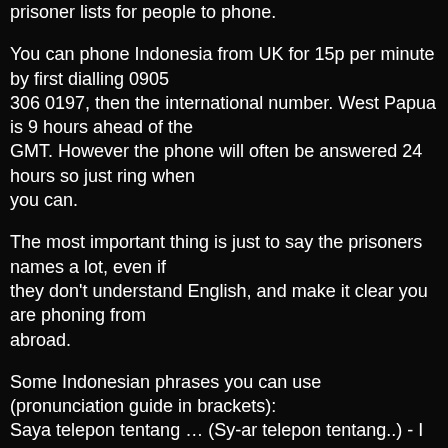regularly. See the prisoner lists for people to phone.
You can phone Indonesia from UK for 15p per minute by first dialling 0905 306 0197, then the international number. West Papua is 9 hours ahead of the GMT. However the phone will often be answered 24 hours so just ring when you can.
The most important thing is just to say the prisoners names a lot, even if they don't understand English, and make it clear you are phoning from abroad.
Some Indonesian phrases you can use (pronunciation guide in brackets):
Saya telepon tentang … (Sy-ar telepon tentang..) - I am telephoning about
...
Hati hati (Harti harti) - Be careful
Kami jaga lihat anda sekarang. (Karmee jargar leehat anda seykarang) - We are watching you now